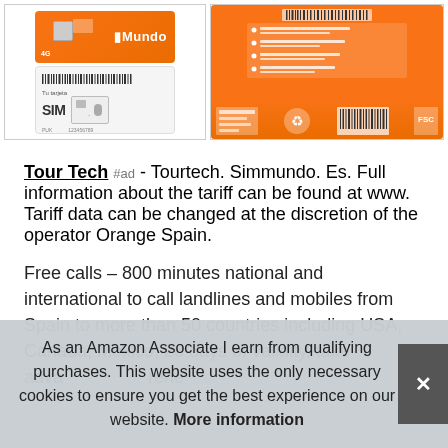[Figure (photo): Two product images of Orange Spain SIM card packages - left shows front and back of SIM Mundo package with orange branding, right shows back of package with barcode and recycling symbol]
Tour Tech #ad - Tourtech. Simmundo. Es. Full information about the tariff can be found at www. Tariff data can be changed at the discretion of the operator Orange Spain.
Free calls – 800 minutes national and international to call landlines and mobiles from Spain to more than 50 countries including USA, Canada, Mexico, 28 days of validity, take advantage of... renewable
As an Amazon Associate I earn from qualifying purchases. This website uses the only necessary cookies to ensure you get the best experience on our website. More information